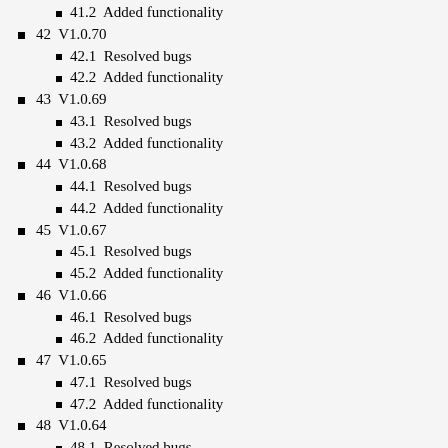41.2  Added functionality
42  V1.0.70
42.1  Resolved bugs
42.2  Added functionality
43  V1.0.69
43.1  Resolved bugs
43.2  Added functionality
44  V1.0.68
44.1  Resolved bugs
44.2  Added functionality
45  V1.0.67
45.1  Resolved bugs
45.2  Added functionality
46  V1.0.66
46.1  Resolved bugs
46.2  Added functionality
47  V1.0.65
47.1  Resolved bugs
47.2  Added functionality
48  V1.0.64
48.1  Resolved bugs
48.2  Added functionality
49  V1.0.63
49.1  Resolved bugs
49.2  Added functionality